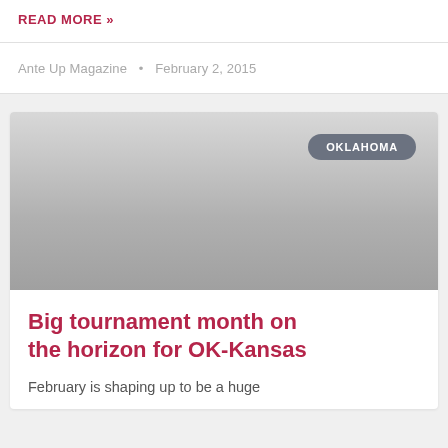READ MORE »
Ante Up Magazine  •  February 2, 2015
[Figure (photo): Gray placeholder image with an OKLAHOMA badge/tag in the top right corner]
Big tournament month on the horizon for OK-Kansas
February is shaping up to be a huge